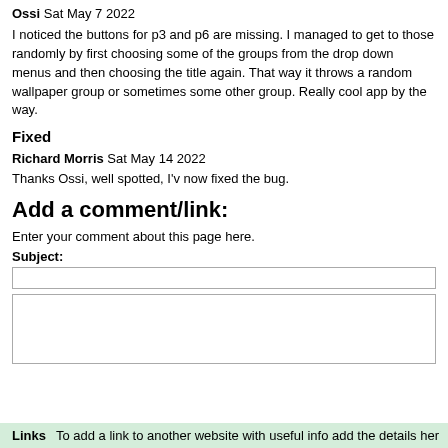Ossi Sat May 7 2022
I noticed the buttons for p3 and p6 are missing. I managed to get to those randomly by first choosing some of the groups from the drop down menus and then choosing the title again. That way it throws a random wallpaper group or sometimes some other group. Really cool app by the way.
Fixed
Richard Morris Sat May 14 2022
Thanks Ossi, well spotted, I'v now fixed the bug.
Add a comment/link:
Enter your comment about this page here.
Subject:
Links   To add a link to another website with useful info add the details her